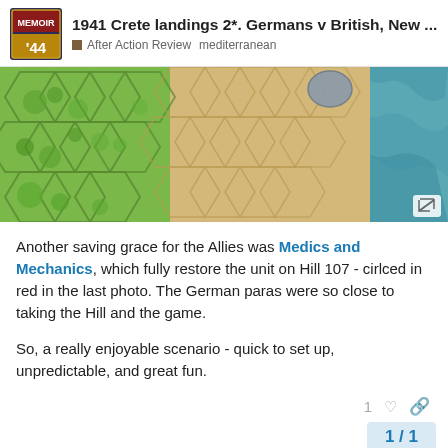1941 Crete landings 2*. Germans v British, New ... | After Action Review  mediterranean
[Figure (photo): Aerial/top-down view of a Memoir 44 board game map showing hexagonal terrain tiles — green forested hexes on the left, sandy/yellow terrain in the center, and blue ocean/water tiles on the right edge, with a grey terrain piece.]
Another saving grace for the Allies was Medics and Mechanics, which fully restore the unit on Hill 107 - cirlced in red in the last photo. The German paras were so close to taking the Hill and the game.
So, a really enjoyable scenario - quick to set up, unpredictable, and great fun.
1  ♡  🔗
1 / 1